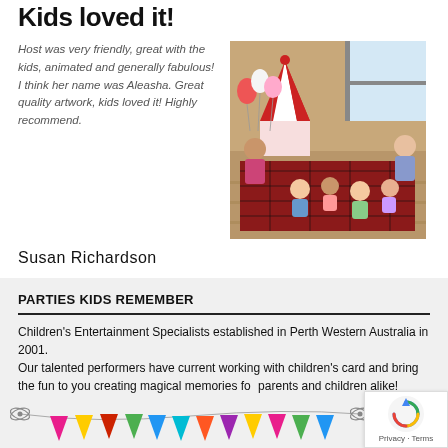Kids loved it!
Host was very friendly, great with the kids, animated and generally fabulous! I think her name was Aleasha. Great quality artwork, kids loved it! Highly recommend.
[Figure (photo): Children sitting in a circle on a plaid mat at a party with a red and white striped circus tent toy, balloons, and two women hosting the event.]
Susan Richardson
PARTIES KIDS REMEMBER
Children's Entertainment Specialists established in Perth Western Australia in 2001.
Our talented performers have current working with children's card and bring the fun to you creating magical memories for parents and children alike!
[Figure (illustration): Colorful bunting/flag banner decoration with triangular pennants in pink, yellow, red, green, blue, and teal colors strung between decorative bows.]